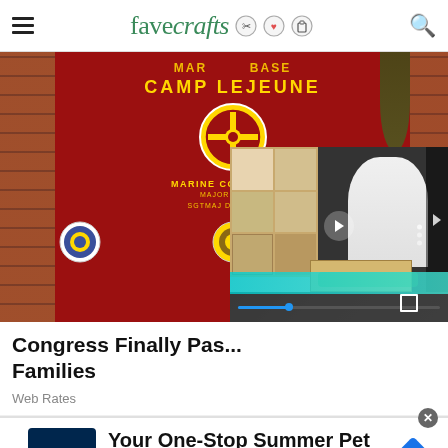favecrafts
[Figure (photo): Screenshot of the FaveCrafts website showing a Camp Lejeune Marine Corps Base sign photo in the background and an embedded video player overlay showing a woman crafting with a bookshelf behind her]
Congress Finally Pas... Families
Web Rates
[Figure (infographic): Petco advertisement banner reading 'Your One-Stop Summer Pet Shop' with Petco logo and navigation arrow icon]